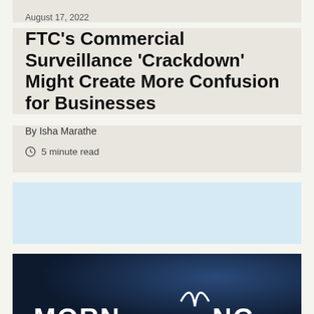August 17, 2022
FTC's Commercial Surveillance 'Crackdown' Might Create More Confusion for Businesses
By Isha Marathe
5 minute read
[Figure (other): Light blue advertisement/placeholder block]
[Figure (photo): Dark navy background with Morning Consult logo text in white at the bottom]